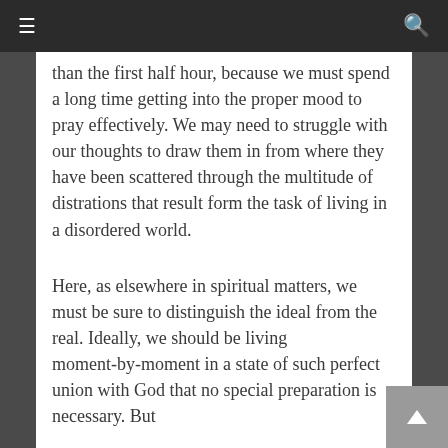≡  🔍
than the first half hour, because we must spend a long time getting into the proper mood to pray effectively. We may need to struggle with our thoughts to draw them in from where they have been scattered through the multitude of distrations that result form the task of living in a disordered world.
Here, as elsewhere in spiritual matters, we must be sure to distinguish the ideal from the real. Ideally, we should be living moment-by-moment in a state of such perfect union with God that no special preparation is necessary. But